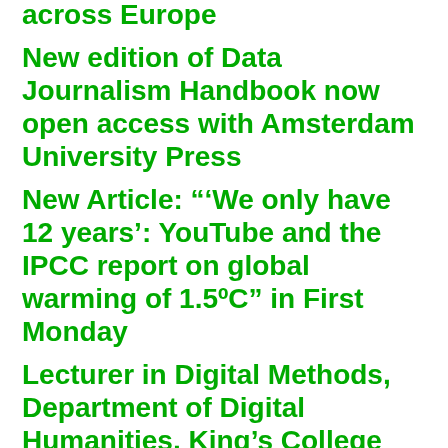across Europe
New edition of Data Journalism Handbook now open access with Amsterdam University Press
New Article: “‘We only have 12 years’: YouTube and the IPCC report on global warming of 1.5ºC” in First Monday
Lecturer in Digital Methods, Department of Digital Humanities, King’s College London
Postdoctoral Research Fellowship at the University of Oxford